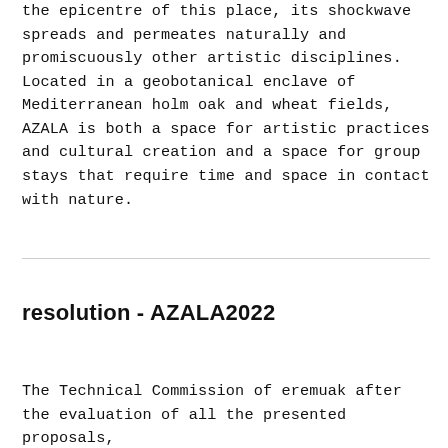the epicentre of this place, its shockwave spreads and permeates naturally and promiscuously other artistic disciplines. Located in a geobotanical enclave of Mediterranean holm oak and wheat fields, AZALA is both a space for artistic practices and cultural creation and a space for group stays that require time and space in contact with nature.
resolution - AZALA2022
The Technical Commission of eremuak after the evaluation of all the presented proposals,